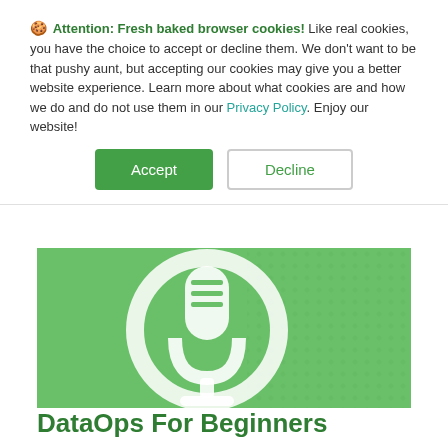🍪 Attention: Fresh baked browser cookies! Like real cookies, you have the choice to accept or decline them. We don't want to be that pushy aunt, but accepting our cookies may give you a better website experience. Learn more about what cookies are and how we do and do not use them in our Privacy Policy. Enjoy our website!
[Figure (other): Two green buttons: Accept (filled green) and Decline (outlined)]
[Figure (illustration): Green background with a white microphone icon and dotted pattern, representing a podcast or webinar.]
DataOps For Beginners
by Chris Bergh | Feb 18, 2022 | DataOps Principles, On-Demand Webinar, Webinar / Podcast